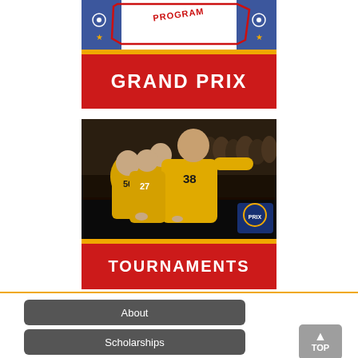[Figure (logo): Bowling program logo with blue/red/gold design and 'PROGRAM' text on an outline map shape, flanked by decorative bowling imagery]
[Figure (infographic): Red banner with gold top border reading 'GRAND PRIX' in large white bold uppercase letters]
[Figure (photo): Team of bowlers in yellow jerseys (numbers 38, 45, 50 visible) crouching in bowling stance in an indoor bowling alley]
[Figure (infographic): Red banner with gold top border reading 'TOURNAMENTS' in large white bold uppercase letters]
About
Scholarships